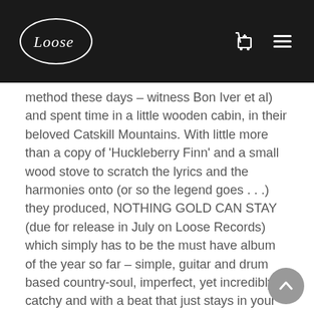Loose Records header with logo and navigation icons
method these days – witness Bon Iver et al) and spent time in a little wooden cabin, in their beloved Catskill Mountains. With little more than a copy of 'Huckleberry Finn' and a small wood stove to scratch the lyrics and the harmonies onto (or so the legend goes . . .) they produced, NOTHING GOLD CAN STAY (due for release in July on Loose Records) which simply has to be the must have album of the year so far – simple, guitar and drum based country-soul, imperfect, yet incredibly catchy and with a beat that just stays in your head forever. The songs are timeless yet have so much to say. Brothers Felice and Ian in particular with his scratchy voice, have already been compared to Dylan by many writers – to the point where the 'D' word is